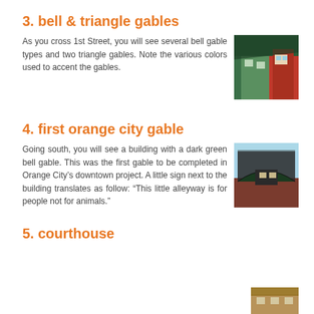3. bell & triangle gables
As you cross 1st Street, you will see several bell gable types and two triangle gables. Note the various colors used to accent the gables.
[Figure (photo): Photo of colorful bell gable rooftop with green and red building facades]
4. first orange city gable
Going south, you will see a building with a dark green bell gable. This was the first gable to be completed in Orange City’s downtown project. A little sign next to the building translates as follow: “This little alleyway is for people not for animals.”
[Figure (photo): Photo of a dark bell gable on a brick building against blue sky]
5. courthouse
[Figure (photo): Partial photo of courthouse building partially visible at bottom right]